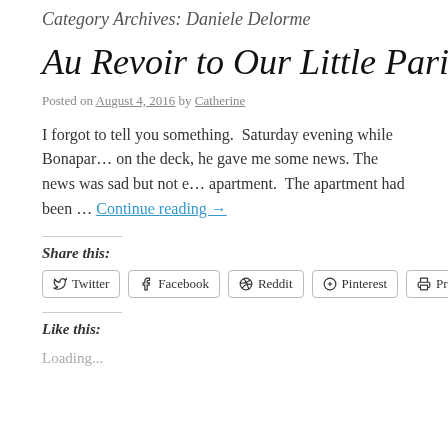Category Archives: Daniele Delorme
Au Revoir to Our Little Paris Ap…
Posted on August 4, 2016 by Catherine
I forgot to tell you something.  Saturday evening while Bonapar… on the deck, he gave me some news. The news was sad but not e… apartment.  The apartment had been … Continue reading →
Share this:
Twitter  Facebook  Reddit  Pinterest  Print
Like this:
Loading...